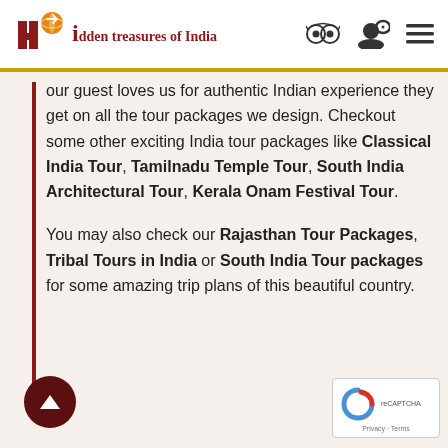Hidden treasures of India
our guest loves us for authentic Indian experience they get on all the tour packages we design. Checkout some other exciting India tour packages like Classical India Tour, Tamilnadu Temple Tour, South India Architectural Tour, Kerala Onam Festival Tour.

You may also check our Rajasthan Tour Packages, Tribal Tours in India or South India Tour packages for some amazing trip plans of this beautiful country.